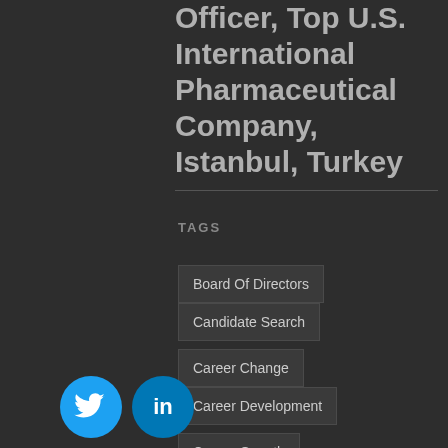Officer, Top U.S. International Pharmaceutical Company, Istanbul, Turkey
TAGS
Board Of Directors
Candidate Search
Career Change
Career Development
Career Growth
Career Success
Chief Compliance Officer
Communication
Compensation
Culture
Decision Making
Employee Retention
Employee Tenure